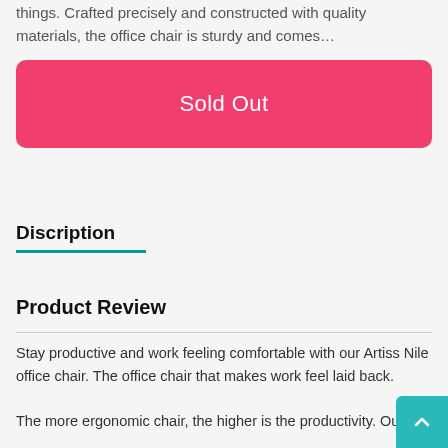things. Crafted precisely and constructed with quality materials, the office chair is sturdy and comes…
[Figure (other): Pink 'Sold Out' button with rounded corners]
Discription
Product Review
Stay productive and work feeling comfortable with our Artiss Nile office chair. The office chair that makes work feel laid back.
The more ergonomic chair, the higher is the productivity. Our